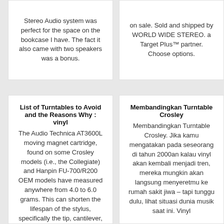Stereo Audio system was perfect for the space on the bookcase I have. The fact it also came with two speakers was a bonus.
on sale. Sold and shipped by WORLD WIDE STEREO. a Target Plus™ partner. Choose options.
List of Turntables to Avoid and the Reasons Why : vinyl
The Audio Technica AT3600L moving magnet cartridge, found on some Crosley models (i.e., the Collegiate) and Hanpin FU-700/R200 OEM models have measured anywhere from 4.0 to 6.0 grams. This can shorten the lifespan of the stylus, specifically the tip, cantilever,
Membandingkan Turntable Crosley
Membandingkan Turntable Crosley. Jika kamu mengatakan pada seseorang di tahun 2000an kalau vinyl akan kembali menjadi tren, mereka mungkin akan langsung menyeretmu ke rumah sakit jiwa – tapi tunggu dulu, lihat situasi dunia musik saat ini. Vinyl